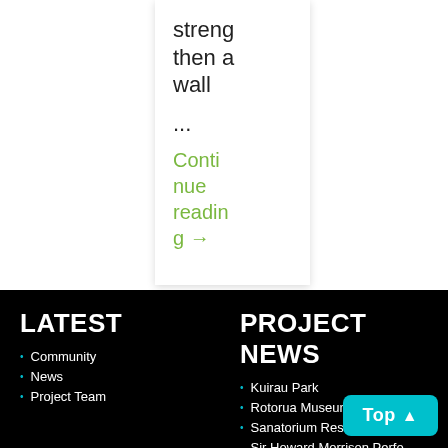strengthen a wall
...
Continue reading →
LATEST
Community
News
Project Team
PROJECT NEWS
Kuirau Park
Rotorua Museum
Sanatorium Reserve
Sir Howard Morrison Performing Centre